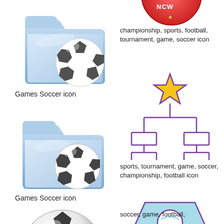[Figure (illustration): Games Soccer icon - folder with soccer ball, blue folder style, large version]
Games Soccer icon
[Figure (illustration): Games Soccer icon - folder with soccer ball, blue folder style, smaller version]
Games Soccer icon
[Figure (illustration): Soccer ball icon, realistic 3D black and white ball]
[Figure (illustration): Championship soccer badge icon - circular red/blue emblem at top (partially cut off)]
championship, sports, football, tournament, game, soccer icon
[Figure (illustration): Tournament bracket icon with gold star on top and purple/violet bracket tree below]
sports, tournament, game, soccer, championship, football icon
[Figure (illustration): Soccer pennant/banner icon with light blue pennant, circular emblem, chevron decoration, purple outline]
soccer, game, football,